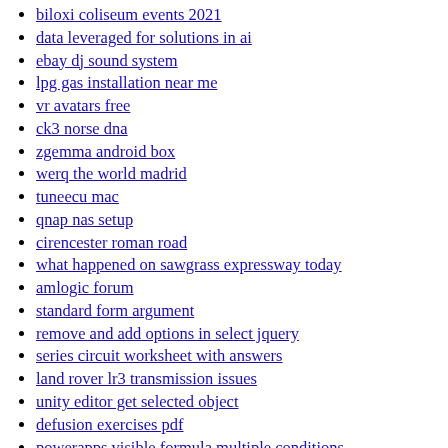biloxi coliseum events 2021
data leveraged for solutions in ai
ebay dj sound system
lpg gas installation near me
vr avatars free
ck3 norse dna
zgemma android box
werq the world madrid
tuneecu mac
qnap nas setup
cirencester roman road
what happened on sawgrass expressway today
amlogic forum
standard form argument
remove and add options in select jquery
series circuit worksheet with answers
land rover lr3 transmission issues
unity editor get selected object
defusion exercises pdf
powerapps visible formula multiple conditions
walmart radio overnight playlist
florida queen bees for sale
esxcli software vib update
free widget apps ios 14
freightliner fault code 1